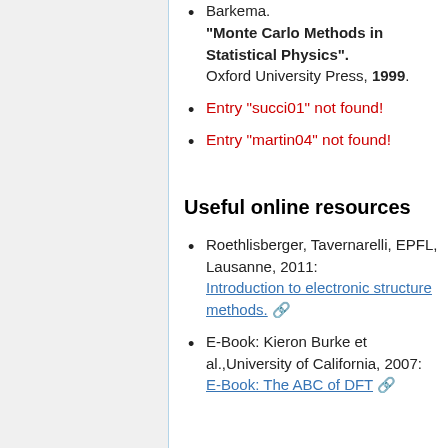Barkema. "Monte Carlo Methods in Statistical Physics". Oxford University Press, 1999.
Entry "succi01" not found!
Entry "martin04" not found!
Useful online resources
Roethlisberger, Tavernarelli, EPFL, Lausanne, 2011: Introduction to electronic structure methods.
E-Book: Kieron Burke et al.,University of California, 2007: E-Book: The ABC of DFT